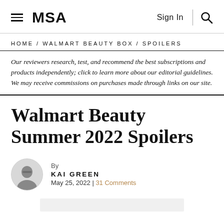MSA | Sign In | Search
HOME / WALMART BEAUTY BOX / SPOILERS
Our reviewers research, test, and recommend the best subscriptions and products independently; click to learn more about our editorial guidelines. We may receive commissions on purchases made through links on our site.
Walmart Beauty Summer 2022 Spoilers
By KAI GREEN
May 25, 2022 | 31 Comments